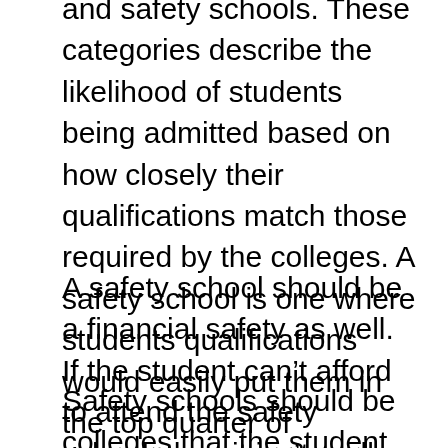and safety schools. These categories describe the likelihood of students being admitted based on how closely their qualifications match those required by the colleges. A safety school is one where students qualifications would easily put them in the top quarter of applicants and ensure their acceptance.
A safety school should be a financial safety as well. If the student can't afford to attend the safety school, then it isn't really a safety school.
Safety schools should be colleges that the student wants to attend. Students should take as much time selecting safety schools as they do in selecting reach schools.